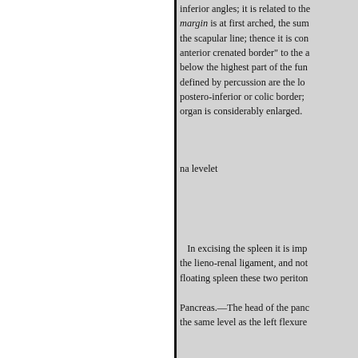inferior angles; it is related to the margin is at first arched, the sum the scapular line; thence it is con anterior crenated border" to the a below the highest part of the fun defined by percussion are the lo postero-inferior or colic border; organ is considerably enlarged.
na levelet
In excising the spleen it is imp the lieno-renal ligament, and not floating spleen these two periton
Pancreas.—The head of the panc the same level as the left flexure